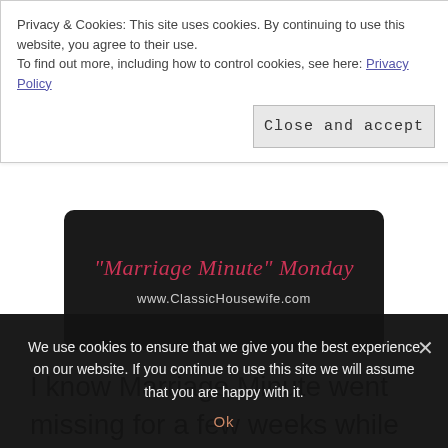Privacy & Cookies: This site uses cookies. By continuing to use this website, you agree to their use.
To find out more, including how to control cookies, see here: Privacy Policy
Close and accept
[Figure (illustration): Dark banner image with red/pink italic text reading '"Marriage Minute" Monday' and subtitle 'www.ClassicHousewife.com' in white on black background]
I know Marriage Minute went missing for a few weeks while my back to school carnival was going on, but we're kicking things back off
We use cookies to ensure that we give you the best experience on our website. If you continue to use this site we will assume that you are happy with it.
Ok